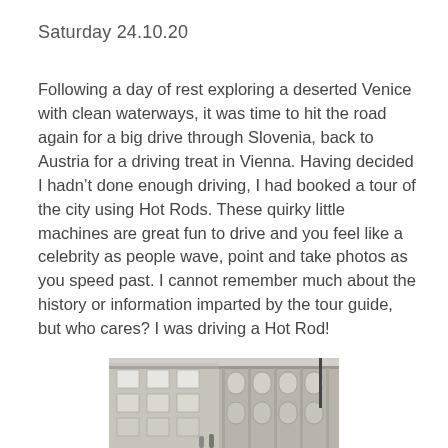Saturday 24.10.20
Following a day of rest exploring a deserted Venice with clean waterways, it was time to hit the road again for a big drive through Slovenia, back to Austria for a driving treat in Vienna. Having decided I hadn’t done enough driving, I had booked a tour of the city using Hot Rods. These quirky little machines are great fun to drive and you feel like a celebrity as people wave, point and take photos as you speed past. I cannot remember much about the history or information imparted by the tour guide, but who cares? I was driving a Hot Rod!
[Figure (photo): Photo of a grand European-style building facade, likely in Vienna, showing ornate windows and classical architecture.]